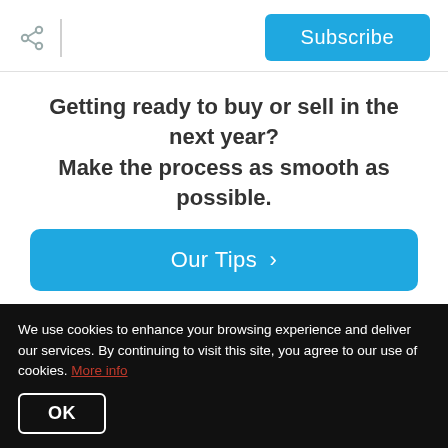Share | Subscribe
Getting ready to buy or sell in the next year? Make the process as smooth as possible.
Our Tips >
Get Your Home's Value
Mortgage Calculator
We use cookies to enhance your browsing experience and deliver our services. By continuing to visit this site, you agree to our use of cookies. More info
OK